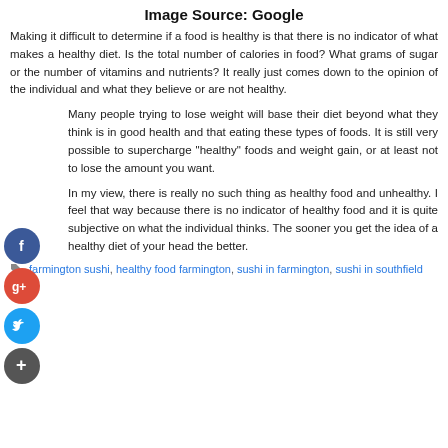Image Source: Google
Making it difficult to determine if a food is healthy is that there is no indicator of what makes a healthy diet. Is the total number of calories in food? What grams of sugar or the number of vitamins and nutrients? It really just comes down to the opinion of the individual and what they believe or are not healthy.
Many people trying to lose weight will base their diet beyond what they think is in good health and that eating these types of foods. It is still very possible to supercharge "healthy" foods and weight gain, or at least not to lose the amount you want.
In my view, there is really no such thing as healthy food and unhealthy. I feel that way because there is no indicator of healthy food and it is quite subjective on what the individual thinks. The sooner you get the idea of a healthy diet of your head the better.
farmington sushi, healthy food farmington, sushi in farmington, sushi in southfield